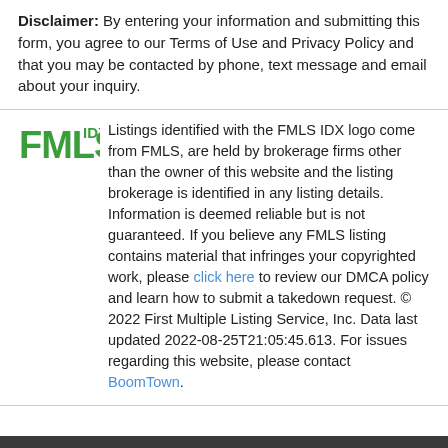Disclaimer: By entering your information and submitting this form, you agree to our Terms of Use and Privacy Policy and that you may be contacted by phone, text message and email about your inquiry.
Listings identified with the FMLS IDX logo come from FMLS, are held by brokerage firms other than the owner of this website and the listing brokerage is identified in any listing details. Information is deemed reliable but is not guaranteed. If you believe any FMLS listing contains material that infringes your copyrighted work, please click here to review our DMCA policy and learn how to submit a takedown request. © 2022 First Multiple Listing Service, Inc. Data last updated 2022-08-25T21:05:45.613. For issues regarding this website, please contact BoomTown.
Guides
Take a Tour
Ask A Question